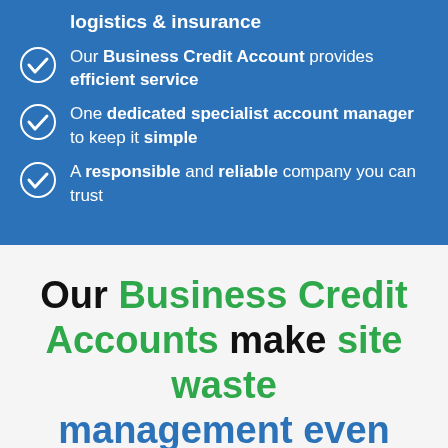logistics & insurance
Our Business Credit Account provides efficient service
One dedicated specialist account manager to keep it simple
A responsible and reliable company you can trust
Our Business Credit Accounts make site waste management even simpler